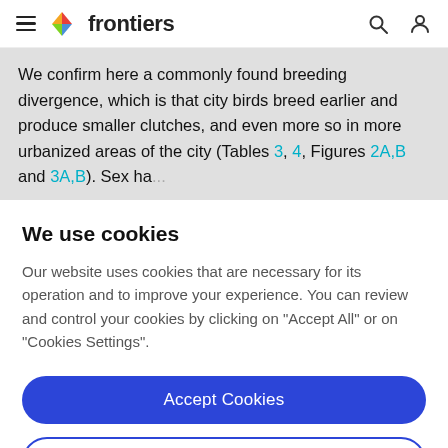frontiers
We confirm here a commonly found breeding divergence, which is that city birds breed earlier and produce smaller clutches, and even more so in more urbanized areas of the city (Tables 3, 4, Figures 2A,B and 3A,B). Sex has an effect on the timing of breeding and...
We use cookies
Our website uses cookies that are necessary for its operation and to improve your experience. You can review and control your cookies by clicking on "Accept All" or on "Cookies Settings".
Accept Cookies
Cookies Settings